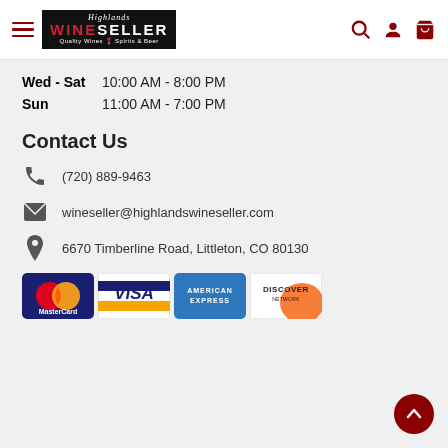[Figure (logo): Highlands Wine Seller logo with hamburger menu icon on white header bar with search, account, and cart icons]
Wed - Sat  10:00 AM - 8:00 PM
Sun  11:00 AM - 7:00 PM
Contact Us
(720) 889-9463
wineseller@highlandswineseller.com
6670 Timberline Road, Littleton, CO 80130
[Figure (other): Payment method logos: MasterCard, Visa, American Express, Discover Network]